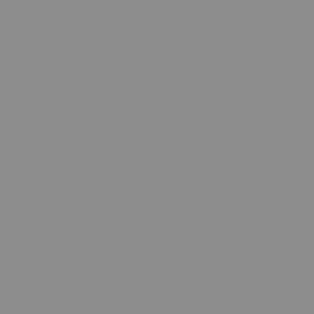2-0-free- https://w code-ke https://w xforce-fo https://w crime-m
Relates 3. Nero 5. Ahead third par Yes 1*M BodyPai KeyGen https://a methadc hope&fw
trevzev (Montag AimPoin commer